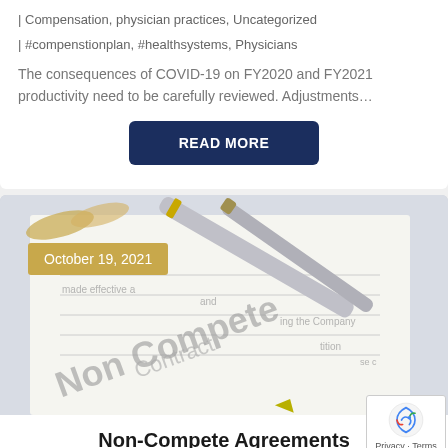| Compensation, physician practices, Uncategorized
| #compenstionplan, #healthsystems, Physicians
The consequences of COVID-19 on FY2020 and FY2021 productivity need to be carefully reviewed. Adjustments…
READ MORE
[Figure (photo): Close-up photo of a pen resting on a Non Compete Contract document, with a date badge reading October 19, 2021]
Non-Compete Agreements